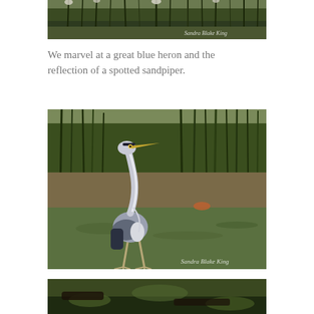[Figure (photo): Top portion of a nature/wetland photo showing green marsh reeds and vegetation, with a photographer watermark 'Sandra Blake King' in the lower right corner. Image is cropped at top of page.]
We marvel at a great blue heron and the reflection of a spotted sandpiper.
[Figure (photo): A great blue heron standing in a wetland/marsh environment with green reedy vegetation in the background and greenish water. The heron is tall, grey-blue, with a long neck and long bill. Watermark 'Sandra Blake King' in lower right corner.]
[Figure (photo): Bottom portion of another nature/wetland photo showing dark water with green marsh plants, cropped at the bottom of the page.]